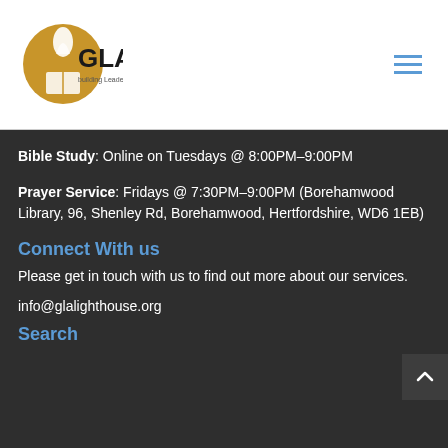[Figure (logo): GLA logo with torch/flame icon in a golden circle and 'GLA' text in black, with tagline 'building leaders. Changing our world.']
Bible Study: Online on Tuesdays @ 8:00PM–9:00PM
Prayer Service: Fridays @ 7:30PM–9:00PM (Borehamwood Library, 96, Shenley Rd, Borehamwood, Hertfordshire, WD6 1EB)
Connect With us
Please get in touch with us to find out more about our services.
info@glalighthouse.org
Search